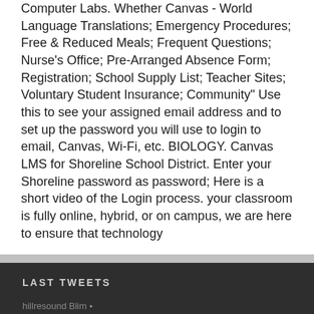Computer Labs. Whether Canvas - World Language Translations; Emergency Procedures; Free & Reduced Meals; Frequent Questions; Nurse's Office; Pre-Arranged Absence Form; Registration; School Supply List; Teacher Sites; Voluntary Student Insurance; Community" Use this to see your assigned email address and to set up the password you will use to login to email, Canvas, Wi-Fi, etc. BIOLOGY. Canvas LMS for Shoreline School District. Enter your Shoreline password as password; Here is a short video of the Login process. your classroom is fully online, hybrid, or on campus, we are here to ensure that technology
LAST TWEETS
hillresound blim
blim
Bliss blim blim
Bloom Naming Came